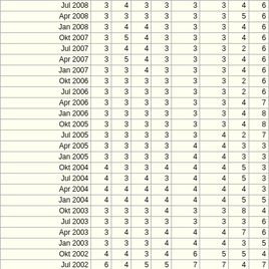|  |  |  |  |  |  |  |  |  |
| --- | --- | --- | --- | --- | --- | --- | --- | --- |
| Jul 2008 | 3 | 4 | 3 | 3 | 3 | 3 | 4 | 6 |
| Apr 2008 | 3 | 3 | 3 | 3 | 3 | 3 | 5 | 6 |
| Jan 2008 | 3 | 4 | 4 | 3 | 3 | 3 | 4 | 6 |
| Okt 2007 | 3 | 5 | 4 | 3 | 3 | 3 | 4 | 6 |
| Jul 2007 | 3 | 4 | 4 | 3 | 3 | 3 | 2 | 6 |
| Apr 2007 | 3 | 5 | 4 | 3 | 3 | 3 | 4 | 6 |
| Jan 2007 | 3 | 3 | 4 | 3 | 3 | 3 | 4 | 6 |
| Okt 2006 | 3 | 3 | 3 | 3 | 3 | 3 | 2 | 6 |
| Jul 2006 | 3 | 3 | 3 | 3 | 3 | 3 | 2 | 6 |
| Apr 2006 | 3 | 3 | 3 | 3 | 3 | 3 | 4 | 7 |
| Jan 2006 | 3 | 3 | 3 | 3 | 3 | 3 | 4 | 8 |
| Okt 2005 | 3 | 3 | 3 | 3 | 3 | 3 | 4 | 8 |
| Jul 2005 | 3 | 3 | 3 | 3 | 3 | 4 | 2 | 7 |
| Apr 2005 | 3 | 3 | 3 | 3 | 4 | 4 | 3 | 3 |
| Jan 2005 | 3 | 3 | 3 | 3 | 4 | 4 | 3 | 3 |
| Okt 2004 | 4 | 3 | 3 | 4 | 4 | 4 | 5 | 3 |
| Jul 2004 | 4 | 3 | 4 | 3 | 4 | 4 | 5 | 3 |
| Apr 2004 | 4 | 4 | 4 | 4 | 4 | 4 | 4 | 3 |
| Jan 2004 | 4 | 4 | 4 | 4 | 4 | 4 | 5 | 5 |
| Okt 2003 | 3 | 3 | 3 | 4 | 3 | 3 | 8 | 4 |
| Jul 2003 | 3 | 3 | 3 | 3 | 3 | 3 | 3 | 6 |
| Apr 2003 | 3 | 4 | 3 | 4 | 4 | 4 | 7 | 6 |
| Jan 2003 | 3 | 3 | 3 | 4 | 4 | 4 | 3 | 5 |
| Okt 2002 | 4 | 4 | 3 | 4 | 6 | 5 | 5 | 4 |
| Jul 2002 | 6 | 4 | 5 | 5 | 7 | 7 | 4 | 7 |
| Apr 2002 | 7 | 6 | 5 | 6 | 7 | 7 | 6 | 7 |
| Jan 2002 | 7 | 6 | 6 | 5 | 11 | 10 | 8 | 3 |